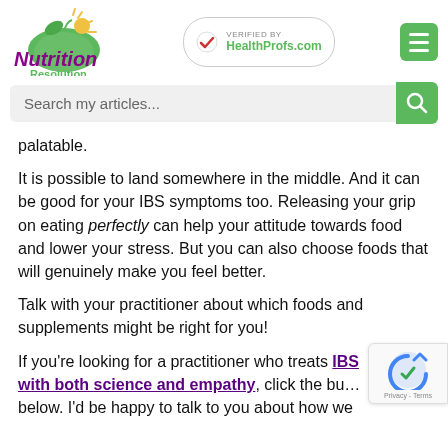Nutrition Resolution — Verified by HealthProfs.com
palatable.
It is possible to land somewhere in the middle. And it can be good for your IBS symptoms too. Releasing your grip on eating perfectly can help your attitude towards food and lower your stress. But you can also choose foods that will genuinely make you feel better.
Talk with your practitioner about which foods and supplements might be right for you!
If you're looking for a practitioner who treats IBS with both science and empathy, click the bu… below. I'd be happy to talk to you about how we